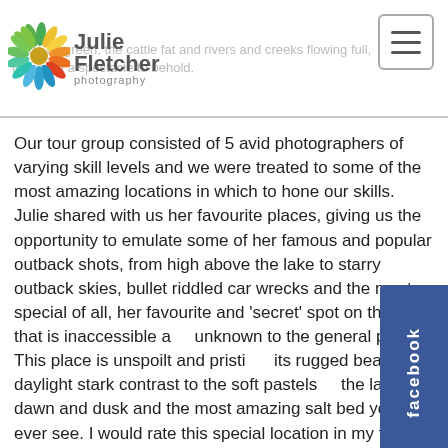Julie Fletcher Photography
Our tour group consisted of 5 avid photographers of varying skill levels and we were treated to some of the most amazing locations in which to hone our skills. Julie shared with us her favourite places, giving us the opportunity to emulate some of her famous and popular outback shots, from high above the lake to starry outback skies, bullet riddled car wrecks and the most special of all, her favourite and 'secret' spot on the lake that is inaccessible and unknown to the general public. This place is unspoilt and pristine, its rugged beauty in daylight stark contrast to the soft pastels of the lake at dawn and dusk and the most amazing salt bed you will ever see. I would rate this special location in my top 3 travel destinations, up there with the beauty of the Maldives and the adrenalin rush of walking the rim of an active volcano at night in Vanuatu. It has a presence that is indescribable, a serenity that belies its harsh and arid location, and a beauty that is felt, not just seen.
Julie's love of country and her chosen field is palpable. Her ability